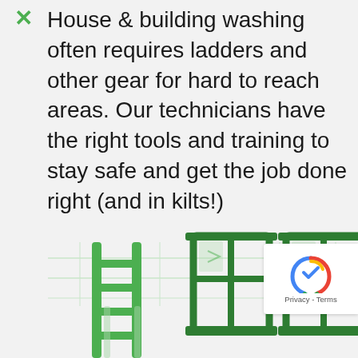House & building washing often requires ladders and other gear for hard to reach areas. Our technicians have the right tools and training to stay safe and get the job done right (and in kilts!)
[Figure (illustration): Illustration of a green ladder and two green scaffold/window frames on a light background]